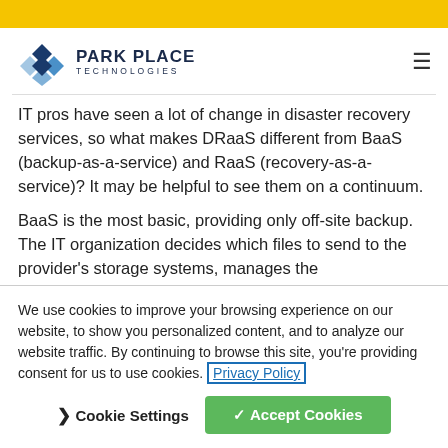[Figure (logo): Park Place Technologies logo with diamond/cube icon and company name]
IT pros have seen a lot of change in disaster recovery services, so what makes DRaaS different from BaaS (backup-as-a-service) and RaaS (recovery-as-a-service)? It may be helpful to see them on a continuum.
BaaS is the most basic, providing only off-site backup. The IT organization decides which files to send to the provider's storage systems, manages the
We use cookies to improve your browsing experience on our website, to show you personalized content, and to analyze our website traffic. By continuing to browse this site, you're providing consent for us to use cookies. Privacy Policy
> Cookie Settings  ✓ Accept Cookies